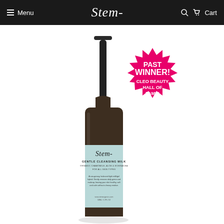Menu | Stem | Cart
[Figure (photo): Stem Organics Gentle Cleansing Milk product bottle with pump dispenser in dark amber glass with light blue label, alongside a hot pink starburst badge reading PAST WINNER! CLEO BEAUTY HALL OF FAME!]